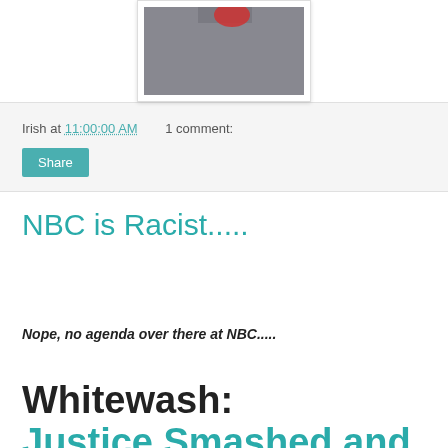[Figure (photo): Partial photo showing a dark/grey background with a small red object at top, displayed in a white bordered frame with shadow]
Irish at 11:00:00 AM    1 comment:
Share
NBC is Racist.....
Nope, no agenda over there at NBC.....
Whitewash: Justice Smashed and...